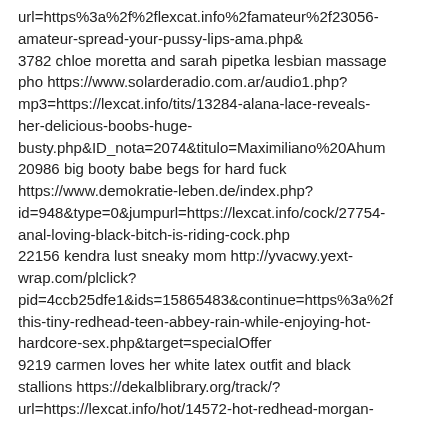url=https%3a%2f%2flexcat.info%2famateur%2f23056-amateur-spread-your-pussy-lips-ama.php&amp; 3782 chloe moretta and sarah pipetka lesbian massage pho https://www.solarderadio.com.ar/audio1.php?mp3=https://lexcat.info/tits/13284-alana-lace-reveals-her-delicious-boobs-huge-busty.php&ID_nota=2074&titulo=Maximiliano%20Ahum 20986 big booty babe begs for hard fuck https://www.demokratie-leben.de/index.php?id=948&type=0&jumpurl=https://lexcat.info/cock/27754-anal-loving-black-bitch-is-riding-cock.php 22156 kendra lust sneaky mom http://yvacwy.yext-wrap.com/plclick?pid=4ccb25dfe1&ids=15865483&continue=https%3a%2fthis-tiny-redhead-teen-abbey-rain-while-enjoying-hot-hardcore-sex.php&target=specialOffer 9219 carmen loves her white latex outfit and black stallions https://dekalblibrary.org/track/?url=https://lexcat.info/hot/14572-hot-redhead-morgan-